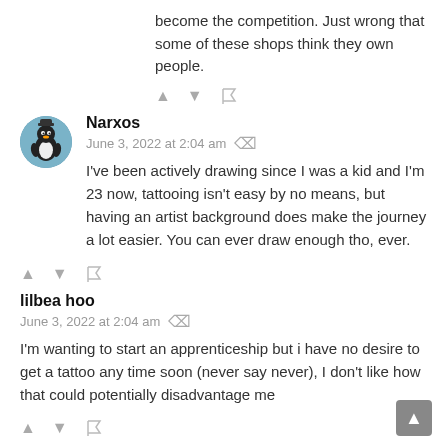become the competition. Just wrong that some of these shops think they own people.
username: Narxos, date: June 3, 2022 at 2:04 am
I've been actively drawing since I was a kid and I'm 23 now, tattooing isn't easy by no means, but having an artist background does make the journey a lot easier. You can ever draw enough tho, ever.
username: lilbea hoo, date: June 3, 2022 at 2:04 am
I'm wanting to start an apprenticeship but i have no desire to get a tattoo any time soon (never say never), I don't like how that could potentially disadvantage me
9Calavera6